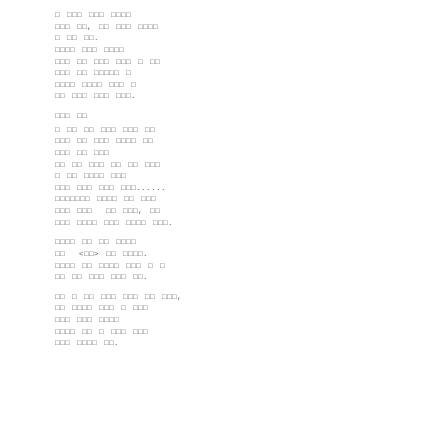□ □□□ □□□ □□□□ □□□ □□, □□ □□□ □□□□ □ □□ □□. □□□□ □□□ □□□□ □□□ □□ □□□ □□□ □ □□ □□□ □□ □□□□□ □ □□□□ □□□□ □□□ □ □□ □□□ □□□ □□□.
□□□ □□
□ □□ □□ □□□ □□□ □□ □□□ □□ □□□ □□□□ □□ □□□ □□ □□□ □□ □□ □□□ □□ □□ □□□ □ □□ □□□□ □□□ □□□ □□□ □□□ □□□...... □□□□□□□ □□□□ □□ □□□ □□□ □□□  □□ □□□, □□ □□□ □□□□ □□□ □□□□ □□□.
□□□□ □□ □□ □□□□ □□  <□□> □□ □□□□. □□□□ □□ □□□□ □□□ □ □ □□ □□ □□□ □□□ □□.
□□ □ □□ □□□ □□□ □□ □□□, □□ □□□□ □□□ □ □□□ □□□ □□□ □□□□ □□□□ □□ □ □□□ □□□ □□□ □□□□ □□.